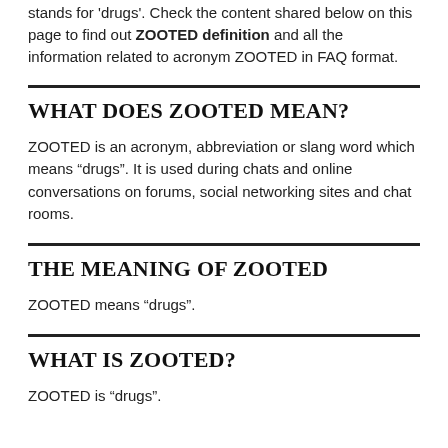stands for 'drugs'. Check the content shared below on this page to find out ZOOTED definition and all the information related to acronym ZOOTED in FAQ format.
WHAT DOES ZOOTED MEAN?
ZOOTED is an acronym, abbreviation or slang word which means “drugs”. It is used during chats and online conversations on forums, social networking sites and chat rooms.
THE MEANING OF ZOOTED
ZOOTED means “drugs”.
WHAT IS ZOOTED?
ZOOTED is “drugs”.